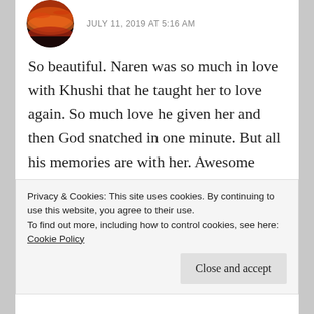JULY 11, 2019 AT 5:16 AM
So beautiful. Naren was so much in love with Khushi that he taught her to love again. So much love he given her and then God snatched in one minute. But all his memories are with her. Awesome
★ Liked by 2 people
Reply
Privacy & Cookies: This site uses cookies. By continuing to use this website, you agree to their use. To find out more, including how to control cookies, see here: Cookie Policy